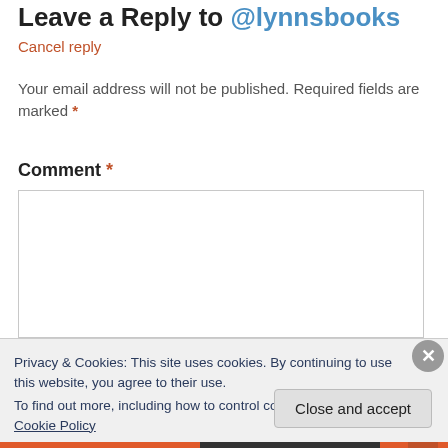Leave a Reply to @lynnsbooks
Cancel reply
Your email address will not be published. Required fields are marked *
Comment *
Privacy & Cookies: This site uses cookies. By continuing to use this website, you agree to their use.
To find out more, including how to control cookies, see here: Cookie Policy
Close and accept